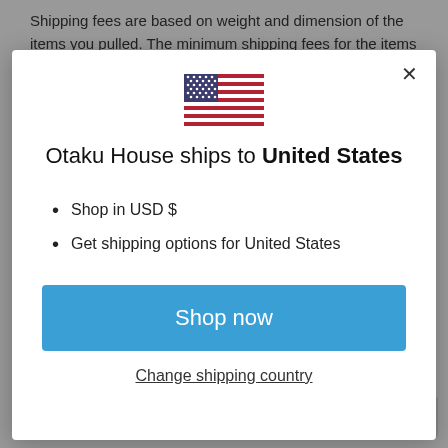Shipping fees are based on weight and dimension of the items you pulled. The minimum shipping fees for the items to be...
[Figure (screenshot): Modal dialog for Otaku House country/currency selection showing US flag, title 'Otaku House ships to United States', bullet points for USD and shipping options, a 'Shop now' button, and a 'Change shipping country' link]
Otaku House ships to United States
Shop in USD $
Get shipping options for United States
Shop now
Change shipping country